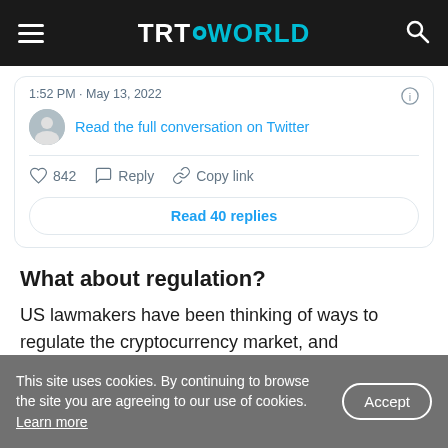TRT WORLD
[Figure (screenshot): Embedded Twitter/X tweet card showing timestamp '1:52 PM · May 13, 2022', a 'Read the full conversation on Twitter' link with user avatar, like count of 842, Reply and Copy link actions, and a 'Read 40 replies' button.]
What about regulation?
US lawmakers have been thinking of ways to regulate the cryptocurrency market, and
This site uses cookies. By continuing to browse the site you are agreeing to our use of cookies. Learn more